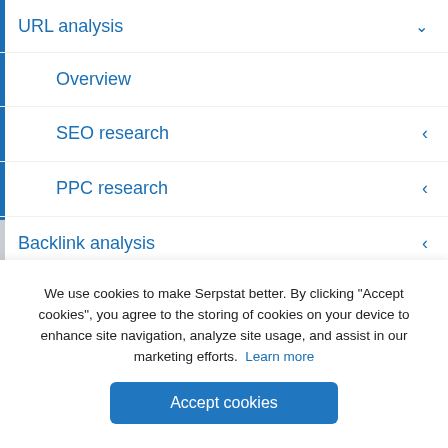URL analysis ˅
Overview
SEO research ‹
PPC research ‹
Backlink analysis ‹
Rank tracker ‹
Batch analysis ‹
We use cookies to make Serpstat better. By clicking "Accept cookies", you agree to the storing of cookies on your device to enhance site navigation, analyze site usage, and assist in our marketing efforts. Learn more
Accept cookies